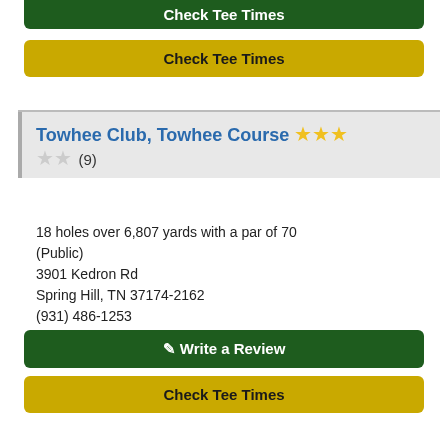Check Tee Times (button, top)
Towhee Club, Towhee Course — 3 stars (9 reviews)
18 holes over 6,807 yards with a par of 70 (Public)
3901 Kedron Rd
Spring Hill, TN 37174-2162
(931) 486-1253
18 miles from the center of Chapel Hill.
Write a Review (button)
Check Tee Times (button)
Old Fort Golf Club, Old Fort Course — 1 star + 4 stars shown (3 reviews)
18 holes over 6,859 yards with a par of 72 (Municipal)